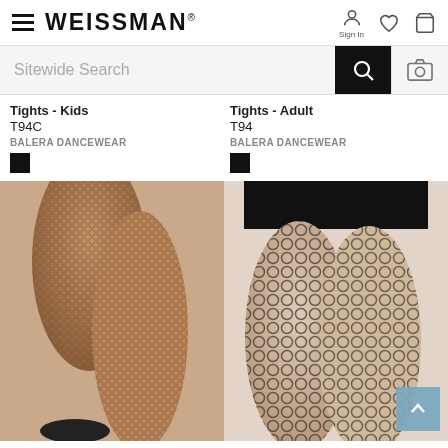WEISSMAN — navigation header with hamburger menu, Sign In, wishlist, and cart icons
Sitewide Search
Tights - Kids
T94C
BALERA DANCEWEAR
Tights - Adult
T94
BALERA DANCEWEAR
[Figure (photo): Close-up photo of legs wearing fine fishnet tights (dark tan/brown), showing from thigh to ankle with a black heel shoe]
[Figure (photo): Close-up photo of legs wearing wide-weave fishnet/net tights (black), with black shorts visible at the top]